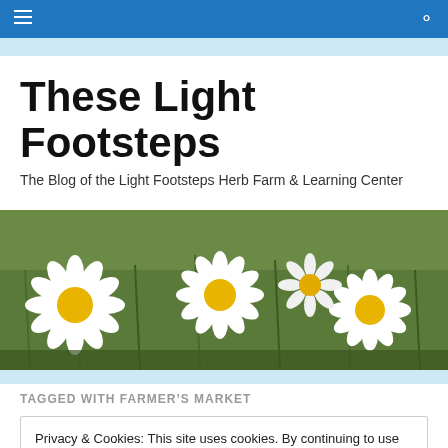These Light Footsteps — navigation bar with hamburger menu and search icon
These Light Footsteps
The Blog of the Light Footsteps Herb Farm & Learning Center
[Figure (photo): Wide banner photograph of white daisy flowers with yellow centers in a field of green grass]
TAGGED WITH FARMER'S MARKET
Privacy & Cookies: This site uses cookies. By continuing to use this website, you agree to their use.
To find out more, including how to control cookies, see here: Cookie Policy
Close and accept